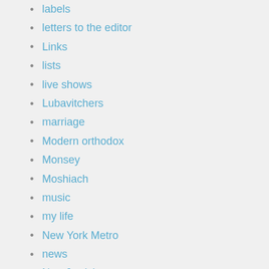labels
letters to the editor
Links
lists
live shows
Lubavitchers
marriage
Modern orthodox
Monsey
Moshiach
music
my life
New York Metro
news
Non-Jewish
Non-orthodox
Obama
off the derech
Onion Style